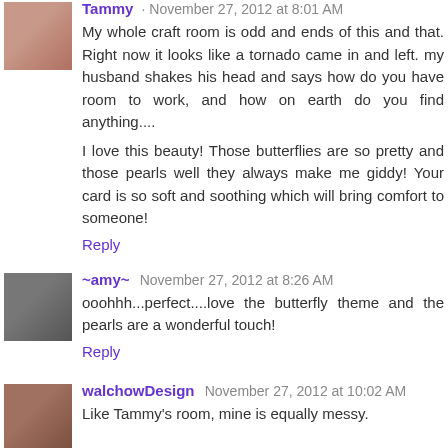Tammy · November 27, 2012 at 8:01 AM
My whole craft room is odd and ends of this and that. Right now it looks like a tornado came in and left. my husband shakes his head and says how do you have room to work, and how on earth do you find anything....
I love this beauty! Those butterflies are so pretty and those pearls well they always make me giddy! Your card is so soft and soothing which will bring comfort to someone!
Reply
~amy~ November 27, 2012 at 8:26 AM
ooohhh...perfect....love the butterfly theme and the pearls are a wonderful touch!
Reply
walchowDesign November 27, 2012 at 10:02 AM
Like Tammy's room, mine is equally messy.